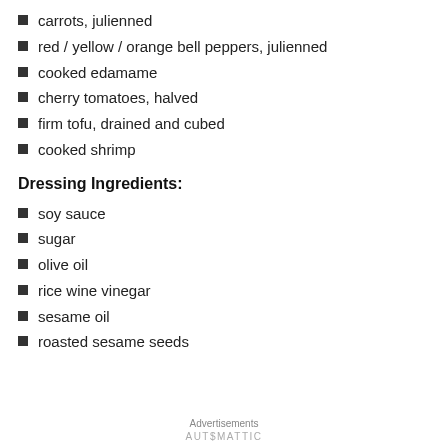carrots, julienned
red / yellow / orange bell peppers, julienned
cooked edamame
cherry tomatoes, halved
firm tofu, drained and cubed
cooked shrimp
Dressing Ingredients:
soy sauce
sugar
olive oil
rice wine vinegar
sesame oil
roasted sesame seeds
Advertisements
AUTOMATTIC